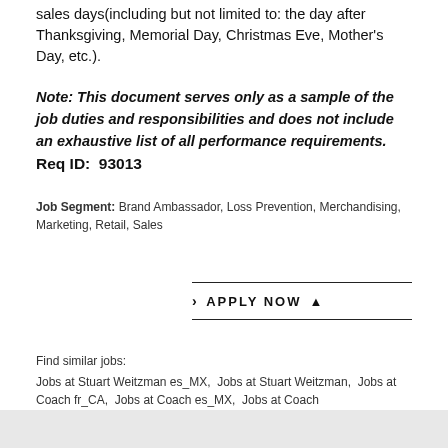sales days(including but not limited to: the day after Thanksgiving, Memorial Day, Christmas Eve, Mother's Day, etc.).
Note: This document serves only as a sample of the job duties and responsibilities and does not include an exhaustive list of all performance requirements.
Req ID:  93013
Job Segment: Brand Ambassador, Loss Prevention, Merchandising, Marketing, Retail, Sales
APPLY NOW
Find similar jobs:
Jobs at Stuart Weitzman es_MX,  Jobs at Stuart Weitzman,  Jobs at Coach fr_CA,  Jobs at Coach es_MX,  Jobs at Coach